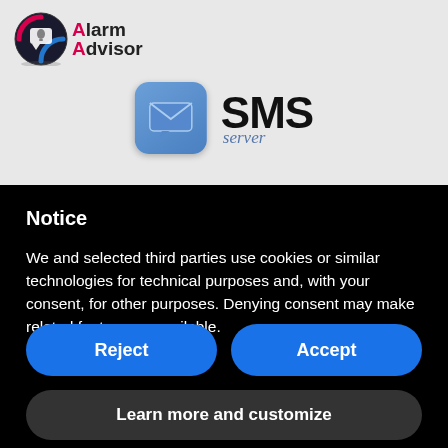[Figure (logo): Alarm Advisor app logo with a circular icon containing alarm bell and message symbols, with text 'Alarm Advisor' in bold]
[Figure (logo): SMS Server icon: a rounded square blue icon with an envelope/message symbol, next to bold text 'SMS' and italic 'server' in blue]
Notice
We and selected third parties use cookies or similar technologies for technical purposes and, with your consent, for other purposes. Denying consent may make related features unavailable.
Reject
Accept
Learn more and customize